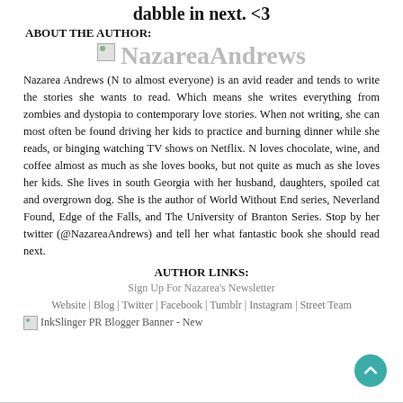dabble in next. <3
ABOUT THE AUTHOR:
[Figure (illustration): Author name logo: NazareaAndrews in large gray text with a broken image icon to the left]
Nazarea Andrews (N to almost everyone) is an avid reader and tends to write the stories she wants to read. Which means she writes everything from zombies and dystopia to contemporary love stories. When not writing, she can most often be found driving her kids to practice and burning dinner while she reads, or binging watching TV shows on Netflix. N loves chocolate, wine, and coffee almost as much as she loves books, but not quite as much as she loves her kids. She lives in south Georgia with her husband, daughters, spoiled cat and overgrown dog. She is the author of World Without End series, Neverland Found, Edge of the Falls, and The University of Branton Series. Stop by her twitter (@NazareaAndrews) and tell her what fantastic book she should read next.
AUTHOR LINKS:
Sign Up For Nazarea's Newsletter
Website | Blog | Twitter | Facebook | Tumblr | Instagram | Street Team
[Figure (illustration): InkSlinger PR Blogger Banner - New (broken image placeholder)]